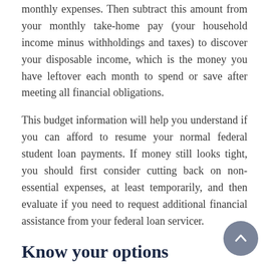monthly expenses. Then subtract this amount from your monthly take-home pay (your household income minus withholdings and taxes) to discover your disposable income, which is the money you have leftover each month to spend or save after meeting all financial obligations.
This budget information will help you understand if you can afford to resume your normal federal student loan payments. If money still looks tight, you should first consider cutting back on non-essential expenses, at least temporarily, and then evaluate if you need to request additional financial assistance from your federal loan servicer.
Know your options
Your best option is to communicate with your federal loan servicer before the end of forbearance if you believe you are unable to resume your normal monthly payments. Your federal loan servicer can provide you